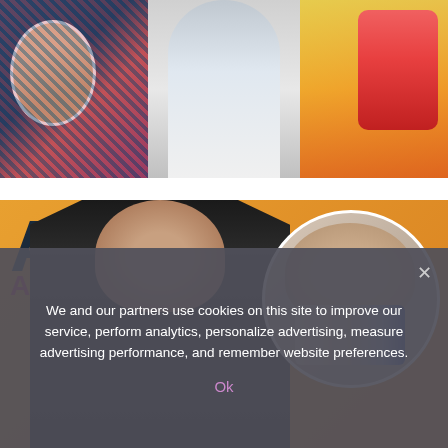[Figure (photo): Top photo collage with three images: left shows person in patterned top with circular crop, center shows blonde woman in white outfit, right shows colorful legs/boots image]
[Figure (photo): Main composite image: woman with black bob hair wearing black turtleneck at theater event with 'A New Play' signage in background (orange/amber), with circular inset showing same or similar woman holding a pregnancy test with teary eyes]
We and our partners use cookies on this site to improve our service, perform analytics, personalize advertising, measure advertising performance, and remember website preferences.
Ok